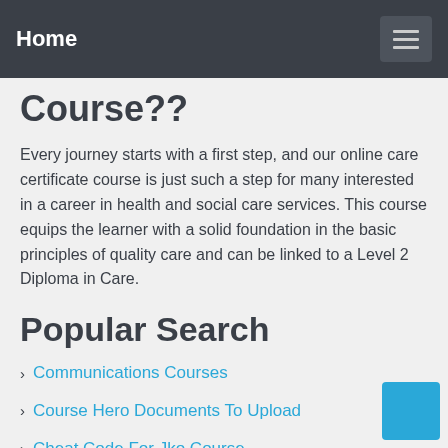Home
Course??
Every journey starts with a first step, and our online care certificate course is just such a step for many interested in a career in health and social care services. This course equips the learner with a solid foundation in the basic principles of quality care and can be linked to a Level 2 Diploma in Care.
Popular Search
Communications Courses
Course Hero Documents To Upload
Cheat Code For Jko Course